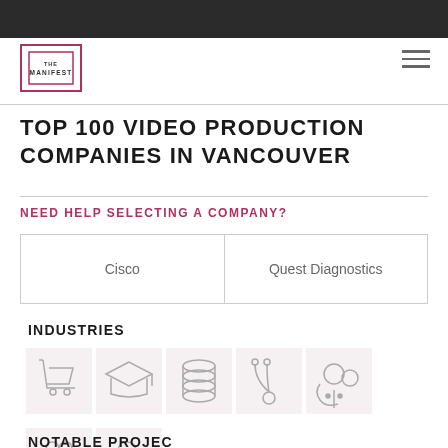THE MANIFEST
TOP 100 VIDEO PRODUCTION COMPANIES IN VANCOUVER
NEED HELP SELECTING A COMPANY?
| Cisco | Quest Diagnostics |
| --- | --- |
INDUSTRIES
[Figure (illustration): Industry icons: shopping cart, graduation cap, coins/money, stethoscope/medical, cloud/tech, heart/nonprofit, shopping bag]
NOTABLE PROJECT